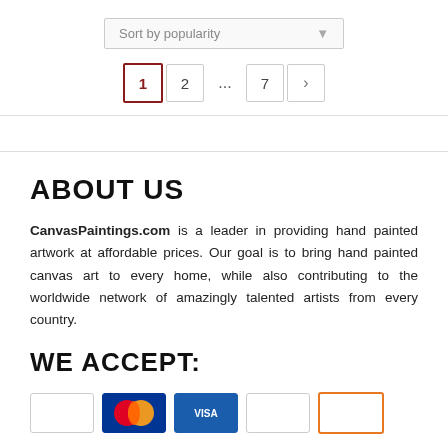[Figure (screenshot): Sort by popularity dropdown selector with grey border and arrow]
[Figure (screenshot): Pagination bar with pages 1 (active, red border), 2, ..., 7, and next arrow button]
ABOUT US
CanvasPaintings.com is a leader in providing hand painted artwork at affordable prices. Our goal is to bring hand painted canvas art to every home, while also contributing to the worldwide network of amazingly talented artists from every country.
WE ACCEPT:
[Figure (screenshot): Row of payment method icons including Mastercard, and other card logos]